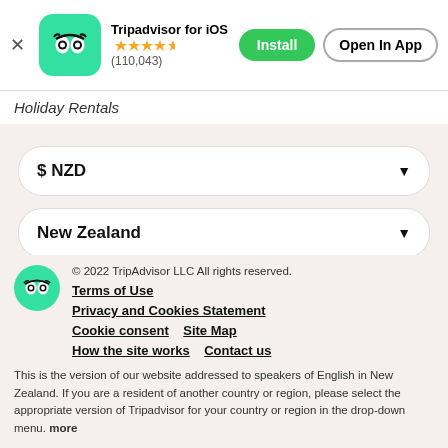[Figure (screenshot): App install banner showing Tripadvisor for iOS with green owl icon, star rating (110,043 reviews), Install and Open In App buttons]
Holiday Rentals
$ NZD
New Zealand
[Figure (logo): TripAdvisor circular green logo with owl icon]
© 2022 TripAdvisor LLC All rights reserved.
Terms of Use
Privacy and Cookies Statement
Cookie consent   Site Map
How the site works   Contact us
This is the version of our website addressed to speakers of English in New Zealand. If you are a resident of another country or region, please select the appropriate version of Tripadvisor for your country or region in the drop-down menu. more